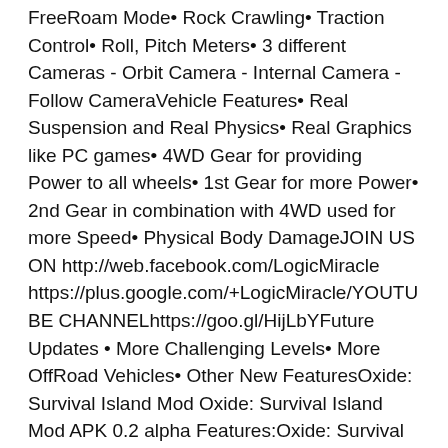FreeRoam Mode• Rock Crawling• Traction Control• Roll, Pitch Meters• 3 different Cameras - Orbit Camera - Internal Camera - Follow CameraVehicle Features• Real Suspension and Real Physics• Real Graphics like PC games• 4WD Gear for providing Power to all wheels• 1st Gear for more Power• 2nd Gear in combination with 4WD used for more Speed• Physical Body DamageJOIN US ON http://web.facebook.com/LogicMiracle https://plus.google.com/+LogicMiracle/YOUTUBE CHANNELhttps://goo.gl/HijLbYFuture Updates • More Challenging Levels• More OffRoad Vehicles• Other New FeaturesOxide: Survival Island Mod Oxide: Survival Island Mod APK 0.2 alpha Features:Oxide: Survival Island is a new game based on Survival Simulator!Here you are, alone on the abandoned island, where everything can kill you. Cold, starving, predators, enemies: are you strong enough to tackle all these dangers?Now stop, breathe and plan. Step 1: gather resources and create tools. Step 2: build a shelter and make some attire.